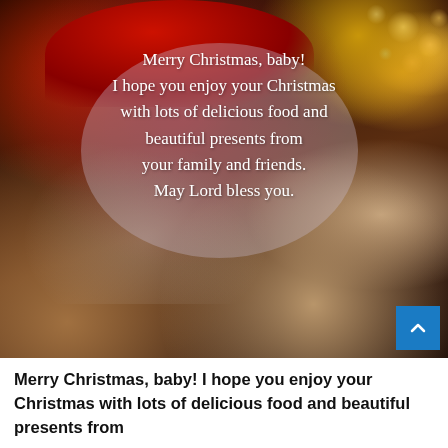[Figure (photo): Photo of Santa Claus holding a baby or young child, with a Christmas tree with bokeh lights visible in the background. Overlaid white text reads a Christmas blessing message.]
Merry Christmas, baby! I hope you enjoy your Christmas with lots of delicious food and beautiful presents from your family and friends. May Lord bless you.